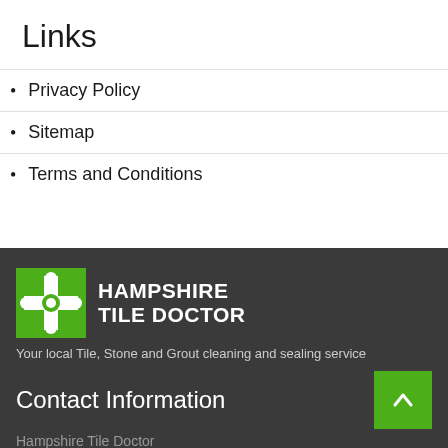Links
Privacy Policy
Sitemap
Terms and Conditions
[Figure (logo): Hampshire Tile Doctor logo — green square with white cross-plus icon on left, bold white text HAMPSHIRE TILE DOCTOR on right]
Your local Tile, Stone and Grout cleaning and sealing service
Contact Information
Hampshire Tile Doctor